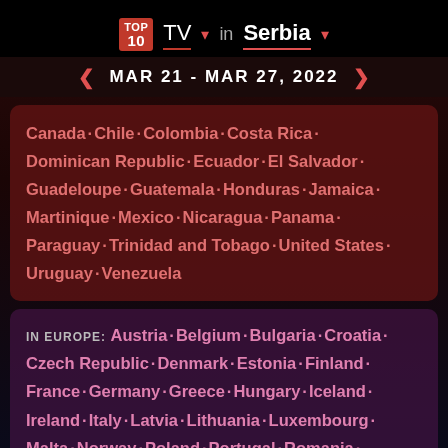TOP 10 TV in Serbia MAR 21 - MAR 27, 2022
Canada · Chile · Colombia · Costa Rica · Dominican Republic · Ecuador · El Salvador · Guadeloupe · Guatemala · Honduras · Jamaica · Martinique · Mexico · Nicaragua · Panama · Paraguay · Trinidad and Tobago · United States · Uruguay · Venezuela
IN EUROPE: Austria · Belgium · Bulgaria · Croatia · Czech Republic · Denmark · Estonia · Finland · France · Germany · Greece · Hungary · Iceland · Ireland · Italy · Latvia · Lithuania · Luxembourg · Malta · Norway · Poland · Portugal · Romania · Serbia · Slovakia · Slovenia · Spain · Sweden · Switzerland · Ukraine · United Kingdom